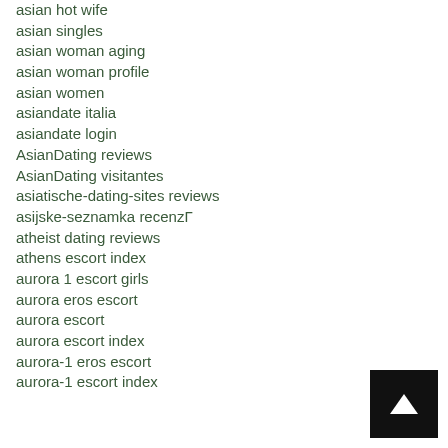asian hot wife
asian singles
asian woman aging
asian woman profile
asian women
asiandate italia
asiandate login
AsianDating reviews
AsianDating visitantes
asiatische-dating-sites reviews
asijske-seznamka recenzГ
atheist dating reviews
athens escort index
aurora 1 escort girls
aurora eros escort
aurora escort
aurora escort index
aurora-1 eros escort
aurora-1 escort index